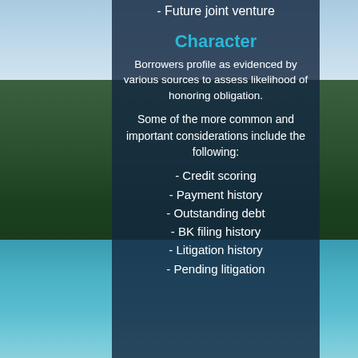- Future joint venture
Character
Borrowers profile as evidenced by various sources to assess likelihood of honoring obligation.
Some of the more common and important considerations include the following:
- Credit scoring
- Payment history
- Outstanding debt
- BK filing history
- Litigation history
- Pending litigation